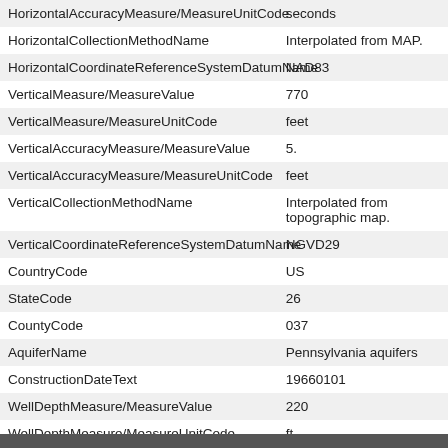| Field | Value |
| --- | --- |
| HorizontalAccuracyMeasure/MeasureUnitCode | seconds |
| HorizontalCollectionMethodName | Interpolated from MAP. |
| HorizontalCoordinateReferenceSystemDatumName | NAD83 |
| VerticalMeasure/MeasureValue | 770 |
| VerticalMeasure/MeasureUnitCode | feet |
| VerticalAccuracyMeasure/MeasureValue | 5. |
| VerticalAccuracyMeasure/MeasureUnitCode | feet |
| VerticalCollectionMethodName | Interpolated from topographic map. |
| VerticalCoordinateReferenceSystemDatumName | NGVD29 |
| CountryCode | US |
| StateCode | 26 |
| CountyCode | 037 |
| AquiferName | Pennsylvania aquifers |
| ConstructionDateText | 19660101 |
| WellDepthMeasure/MeasureValue | 220 |
| WellDepthMeasure/MeasureUnitCode | ft |
| ProviderName | NWIS |